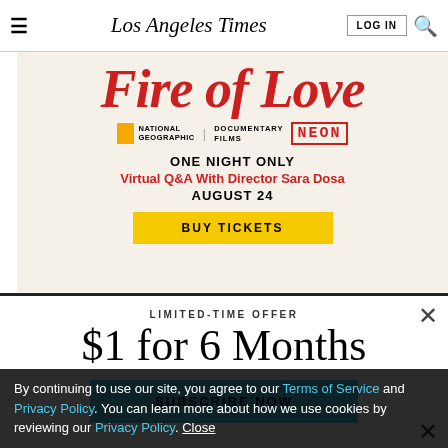Los Angeles Times
[Figure (infographic): Fire of Love documentary advertisement: National Geographic | Documentary Films | NEON. ONE NIGHT ONLY. Virtual Q&A With Director Sara Dosa. AUGUST 24. BUY TICKETS button.]
LIMITED-TIME OFFER
$1 for 6 Months
SUBSCRIBE NOW
By continuing to use our site, you agree to our Terms of Service and Privacy Policy. You can learn more about how we use cookies by reviewing our Privacy Policy. Close